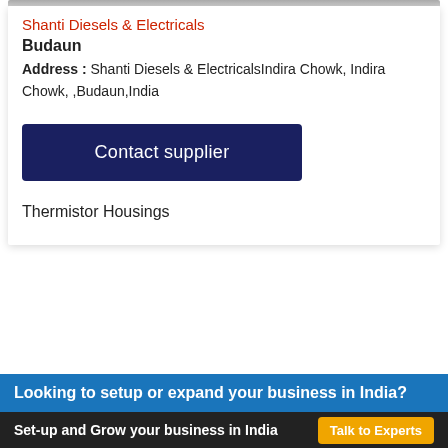[Figure (photo): Partial photo strip at top of card]
Shanti Diesels & Electricals
Budaun
Address : Shanti Diesels & ElectricalsIndira Chowk, Indira Chowk, ,Budaun,India
Contact supplier
Thermistor Housings
Looking to setup or expand your business in India?
Set-up and Grow your business in India
Talk to Experts